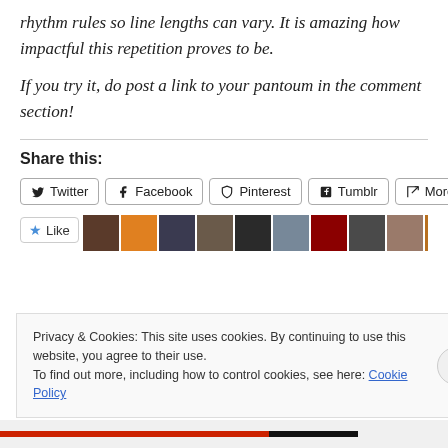rhythm rules so line lengths can vary. It is amazing how impactful this repetition proves to be.
If you try it, do post a link to your pantoum in the comment section!
Share this:
Twitter  Facebook  Pinterest  Tumblr  More
Like
Privacy & Cookies: This site uses cookies. By continuing to use this website, you agree to their use.
To find out more, including how to control cookies, see here: Cookie Policy
Close and accept